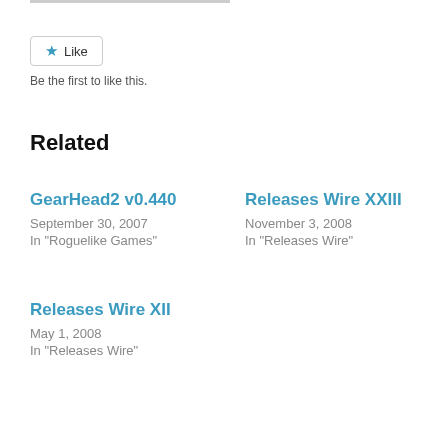[Figure (other): Like button with star icon and text 'Like']
Be the first to like this.
Related
GearHead2 v0.440
September 30, 2007
In "Roguelike Games"
Releases Wire XXIII
November 3, 2008
In "Releases Wire"
Releases Wire XII
May 1, 2008
In "Releases Wire"